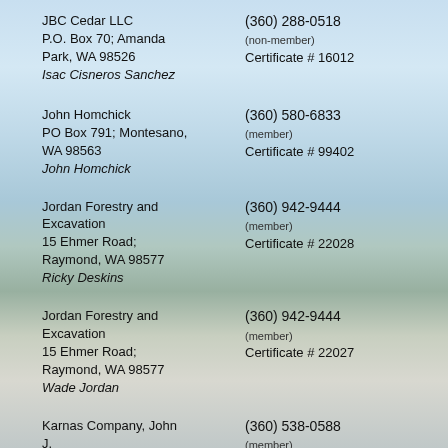JBC Cedar LLC
P.O. Box 70; Amanda Park, WA 98526
Isac Cisneros Sanchez
(360) 288-0518
(non-member)
Certificate # 16012
John Homchick
PO Box 791; Montesano, WA 98563
John Homchick
(360) 580-6833
(member)
Certificate # 99402
Jordan Forestry and Excavation
15 Ehmer Road; Raymond, WA 98577
Ricky Deskins
(360) 942-9444
(member)
Certificate # 22028
Jordan Forestry and Excavation
15 Ehmer Road; Raymond, WA 98577
Wade Jordan
(360) 942-9444
(member)
Certificate # 22027
Karnas Company, John J.
711 28th Street; Hoquiam, WA 98550
(360) 538-0588
(member)
Certificate # OSS22006